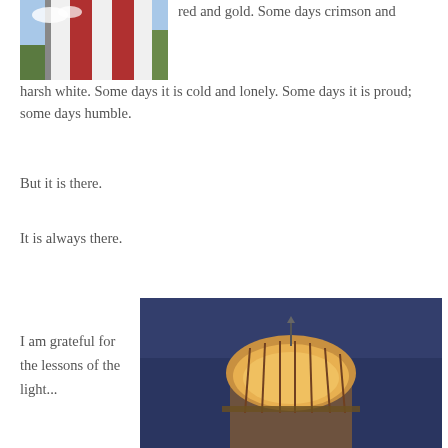[Figure (photo): Close-up photo of a red and white striped lighthouse tower against a blue sky with trees in background]
red and gold. Some days crimson and harsh white. Some days it is cold and lonely. Some days it is proud; some days humble.
But it is there.
It is always there.
[Figure (photo): Night photo of the top of a lighthouse with glowing golden lantern room against a dark blue sky]
I am grateful for the lessons of the light...